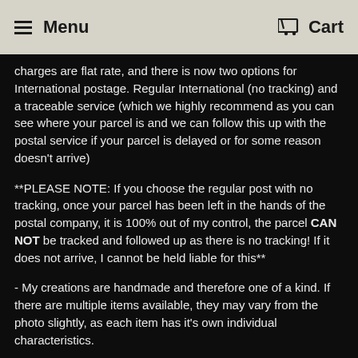Menu   Cart
charges are flat rate, and there is now two options for International postage. Regular International (no tracking) and a traceable service (which we highly recommend as you can see where your parcel is and we can follow this up with the postal service if your parcel is delayed or for some reason doesn't arrive)
**PLEASE NOTE: If you choose the regular post with no tracking, once your parcel has been left in the hands of the postal company, it is 100% out of my control, the parcel CAN NOT be tracked and followed up as there is no tracking!  If it does not arrive, I cannot be held liable for this**
- My creations are handmade and therefore one of a kind. If there are multiple items available, they may vary from the photo slightly, as each item has it's own individual characteristics.
- I only use good quality backings.  All my jewellery backings are lead & nickel free, usually surgical steel & hypo allergenic.  Clip on